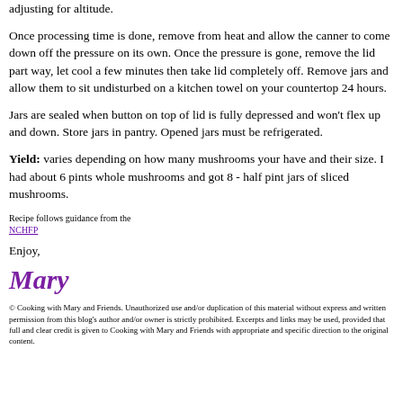adjusting for altitude.
Once processing time is done, remove from heat and allow the canner to come down off the pressure on its own. Once the pressure is gone, remove the lid part way, let cool a few minutes then take lid completely off. Remove jars and allow them to sit undisturbed on a kitchen towel on your countertop 24 hours.
Jars are sealed when button on top of lid is fully depressed and won't flex up and down. Store jars in pantry. Opened jars must be refrigerated.
Yield: varies depending on how many mushrooms your have and their size. I had about 6 pints whole mushrooms and got 8 - half pint jars of sliced mushrooms.
Recipe follows guidance from the
NCHFP
Enjoy,
Mary
© Cooking with Mary and Friends. Unauthorized use and/or duplication of this material without express and written permission from this blog's author and/or owner is strictly prohibited. Excerpts and links may be used, provided that full and clear credit is given to Cooking with Mary and Friends with appropriate and specific direction to the original content.